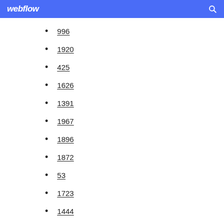webflow
996
1920
425
1626
1391
1967
1896
1872
53
1723
1444
1512